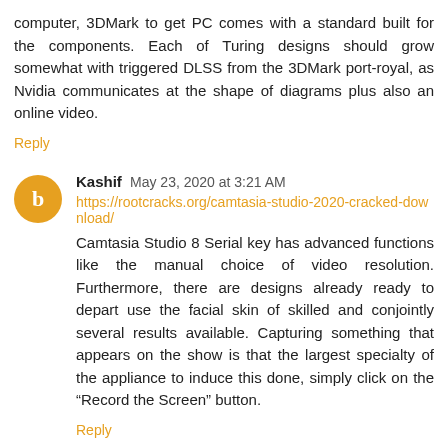computer, 3DMark to get PC comes with a standard built for the components. Each of Turing designs should grow somewhat with triggered DLSS from the 3DMark port-royal, as Nvidia communicates at the shape of diagrams plus also an online video.
Reply
Kashif May 23, 2020 at 3:21 AM
https://rootcracks.org/camtasia-studio-2020-cracked-download/
Camtasia Studio 8 Serial key has advanced functions like the manual choice of video resolution. Furthermore, there are designs already ready to depart use the facial skin of skilled and conjointly several results available. Capturing something that appears on the show is that the largest specialty of the appliance to induce this done, simply click on the “Record the Screen” button.
Reply